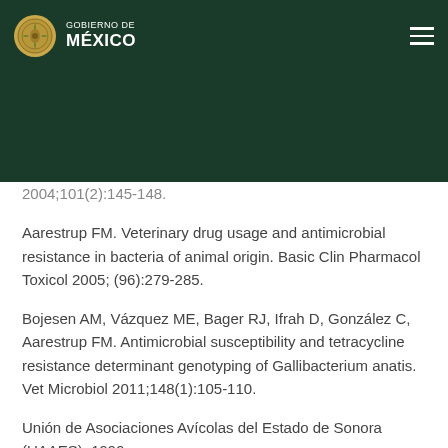GOBIERNO DE MÉXICO
2004;101(2):145-148.
Aarestrup FM. Veterinary drug usage and antimicrobial resistance in bacteria of animal origin. Basic Clin Pharmacol Toxicol 2005; (96):279-285.
Bojesen AM, Vázquez ME, Bager RJ, Ifrah D, González C, Aarestrup FM. Antimicrobial susceptibility and tetracycline resistance determinant genotyping of Gallibacterium anatis. Vet Microbiol 2011;148(1):105-110.
Unión de Asociaciones Avícolas del Estado de Sonora (UAAES). 1999.